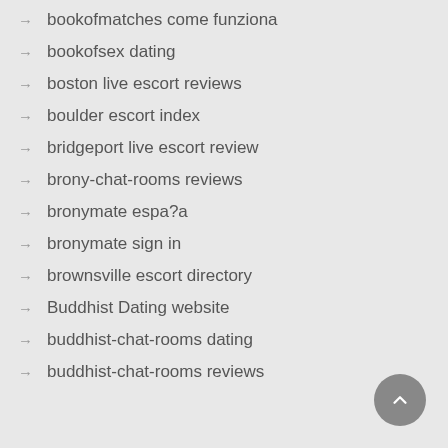→ bookofmatches come funziona
→ bookofsex dating
→ boston live escort reviews
→ boulder escort index
→ bridgeport live escort review
→ brony-chat-rooms reviews
→ bronymate espa?a
→ bronymate sign in
→ brownsville escort directory
→ Buddhist Dating website
→ buddhist-chat-rooms dating
→ buddhist-chat-rooms reviews